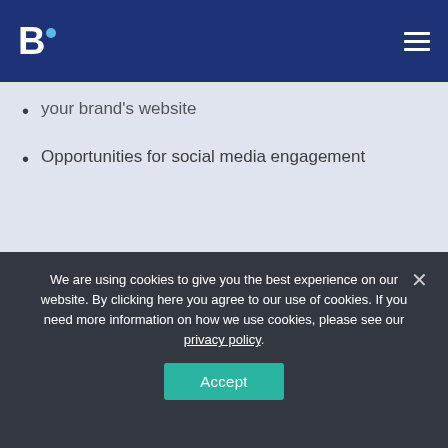B. [logo with hamburger menu]
your brand's website
Opportunities for social media engagement
We are using cookies to give you the best experience on our website. By clicking here you agree to our use of cookies. If you need more information on how we use cookies, please see our privacy policy.
Accept